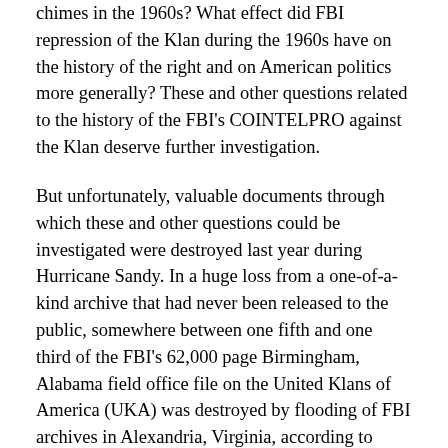chimes in the 1960s? What effect did FBI repression of the Klan during the 1960s have on the history of the right and on American politics more generally? These and other questions related to the history of the FBI's COINTELPRO against the Klan deserve further investigation.
But unfortunately, valuable documents through which these and other questions could be investigated were destroyed last year during Hurricane Sandy. In a huge loss from a one-of-a-kind archive that had never been released to the public, somewhere between one fifth and one third of the FBI's 62,000 page Birmingham, Alabama field office file on the United Klans of America (UKA) was destroyed by flooding of FBI archives in Alexandria, Virginia, according to documents that the FBI released last month to the web site Muckrock.org.